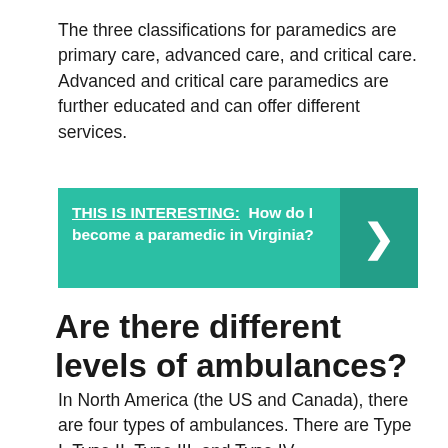The three classifications for paramedics are primary care, advanced care, and critical care. Advanced and critical care paramedics are further educated and can offer different services.
[Figure (infographic): Teal call-out box with label 'THIS IS INTERESTING:' followed by bold text 'How do I become a paramedic in Virginia?' and a darker teal right-arrow panel on the right side.]
Are there different levels of ambulances?
In North America (the US and Canada), there are four types of ambulances. There are Type I, Type II, Type III, and Type IV.